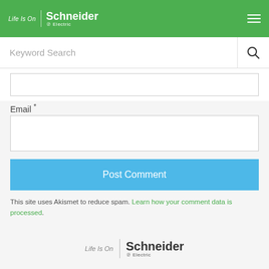Life Is On | Schneider Electric
Keyword Search
Email *
Post Comment
This site uses Akismet to reduce spam. Learn how your comment data is processed.
[Figure (logo): Schneider Electric Life Is On logo in footer]